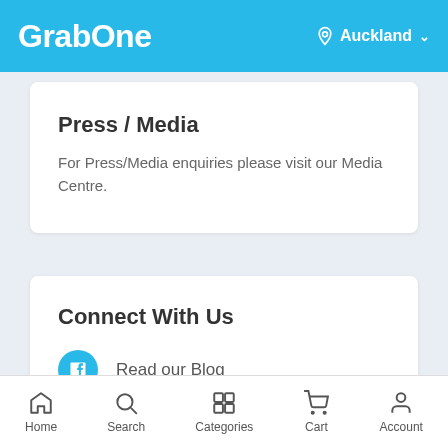GrabOne — Auckland
Press / Media
For Press/Media enquiries please visit our Media Centre.
Connect With Us
Read our Blog
Follow us on Facebook
Connect with us on Twitter
Home  Search  Categories  Cart  Account